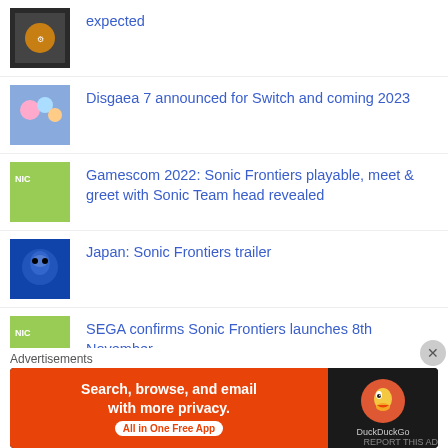expected
Disgaea 7 announced for Switch and coming 2023
Gamescom 2022: Sonic Frontiers playable, meet & greet with Sonic Team head revealed
Japan: Sonic Frontiers trailer
SEGA confirms Sonic Frontiers launches 8th November
Japan: Sonic Frontiers commercial lists 8th November...
Advertisements
[Figure (screenshot): DuckDuckGo advertisement banner: orange left panel with text 'Search, browse, and email with more privacy. All in One Free App' and dark right panel with DuckDuckGo logo]